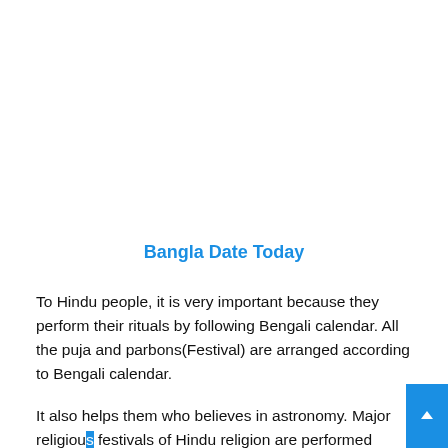Bangla Date Today
To Hindu people, it is very important because they perform their rituals by following Bengali calendar. All the puja and parbons(Festival) are arranged according to Bengali calendar.
It also helps them who believes in astronomy. Major religious festivals of Hindu religion are performed according to this calendar.